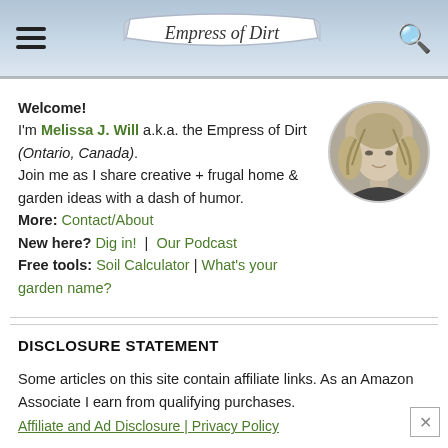Empress of Dirt
Welcome!
I'm Melissa J. Will a.k.a. the Empress of Dirt (Ontario, Canada).
Join me as I share creative + frugal home & garden ideas with a dash of humor.
More: Contact/About
New here? Dig in! | Our Podcast
Free tools: Soil Calculator | What's your garden name?
[Figure (photo): Circular black and white portrait photo of a woman with long blonde hair]
DISCLOSURE STATEMENT
Some articles on this site contain affiliate links. As an Amazon Associate I earn from qualifying purchases.
Affiliate and Ad Disclosure | Privacy Policy